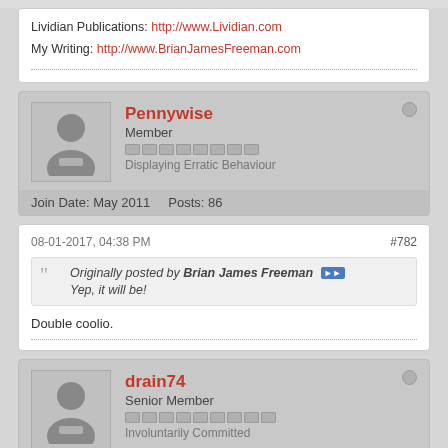Lividian Publications: http://www.Lividian.com
My Writing: http://www.BrianJamesFreeman.com
Pennywise
Member
Displaying Erratic Behaviour
Join Date: May 2011    Posts: 86
08-01-2017, 04:38 PM   #782
Originally posted by Brian James Freeman
Yep, it will be!
Double coolio.
drain74
Senior Member
Involuntarily Committed